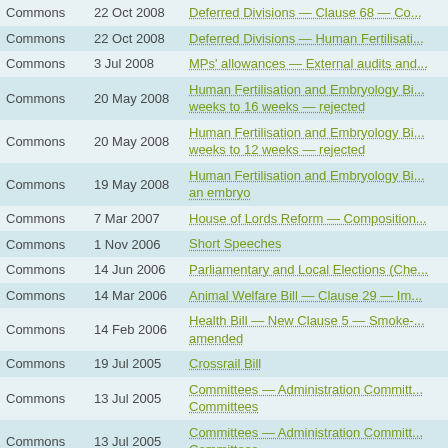| House | Date | Title |
| --- | --- | --- |
| Commons | 22 Oct 2008 | Deferred Divisions — Clause 68 — Co... |
| Commons | 22 Oct 2008 | Deferred Divisions — Human Fertilisati... |
| Commons | 3 Jul 2008 | MPs' allowances — External audits and... |
| Commons | 20 May 2008 | Human Fertilisation and Embryology Bi... weeks to 16 weeks — rejected |
| Commons | 20 May 2008 | Human Fertilisation and Embryology Bi... weeks to 12 weeks — rejected |
| Commons | 19 May 2008 | Human Fertilisation and Embryology Bi... an embryo |
| Commons | 7 Mar 2007 | House of Lords Reform — Composition... |
| Commons | 1 Nov 2006 | Short Speeches |
| Commons | 14 Jun 2006 | Parliamentary and Local Elections (Che... |
| Commons | 14 Mar 2006 | Animal Welfare Bill — Clause 29 — Im... |
| Commons | 14 Feb 2006 | Health Bill — New Clause 5 — Smoke-... amended |
| Commons | 19 Jul 2005 | Crossrail Bill |
| Commons | 13 Jul 2005 | Committees — Administration Committ... Committees |
| Commons | 13 Jul 2005 | Committees — Administration Committ... Committees |